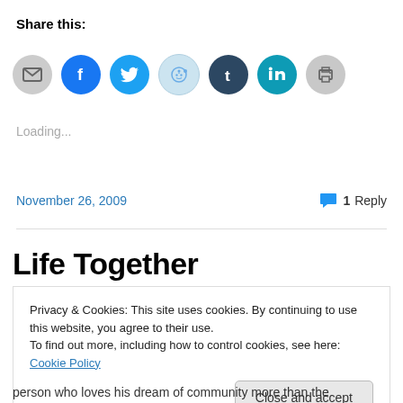Share this:
[Figure (infographic): Row of social sharing icon buttons: email (grey circle), Facebook (blue circle), Twitter (blue circle), Reddit (light blue circle), Tumblr (dark navy circle), LinkedIn (teal circle), Print (light grey circle)]
Loading...
November 26, 2009
1 Reply
Life Together
Privacy & Cookies: This site uses cookies. By continuing to use this website, you agree to their use.
To find out more, including how to control cookies, see here: Cookie Policy
Close and accept
person who loves his dream of community more than the